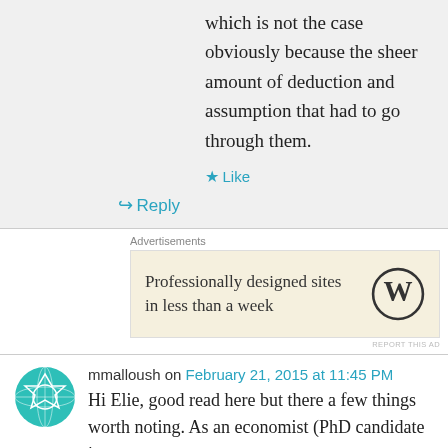which is not the case obviously because the sheer amount of deduction and assumption that had to go through them.
Like
Reply
Advertisements
[Figure (other): WordPress advertisement: Professionally designed sites in less than a week]
REPORT THIS AD
mmalloush on February 21, 2015 at 11:45 PM
Hi Elie, good read here but there a few things worth noting. As an economist (PhD candidate in
Advertisements
[Figure (other): WordPress advertisement: Launch your online course with WordPress - Learn More]
REPORT THIS AD